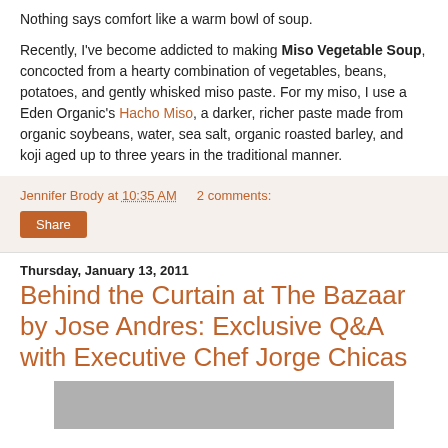Nothing says comfort like a warm bowl of soup.
Recently, I've become addicted to making Miso Vegetable Soup, concocted from a hearty combination of vegetables, beans, potatoes, and gently whisked miso paste. For my miso, I use a Eden Organic's Hacho Miso, a darker, richer paste made from organic soybeans, water, sea salt, organic roasted barley, and koji aged up to three years in the traditional manner.
Jennifer Brody at 10:35 AM   2 comments:
Share
Thursday, January 13, 2011
Behind the Curtain at The Bazaar by Jose Andres: Exclusive Q&A with Executive Chef Jorge Chicas
[Figure (photo): Gray image placeholder at the bottom of the page]